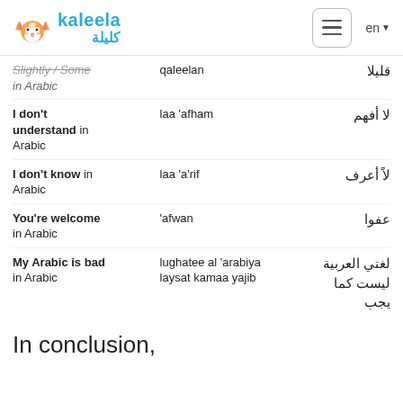kaleela | كليلة
| English | Transliteration | Arabic |
| --- | --- | --- |
| Slightly / Some in Arabic | qaleelan | قليلا |
| I don't understand in Arabic | laa 'afham | لا أفهم |
| I don't know in Arabic | laa 'a'rif | لاً أعرف |
| You're welcome in Arabic | 'afwan | عفوا |
| My Arabic is bad in Arabic | lughatee al 'arabiya laysat kamaa yajib | لغتي العربية ليست كما يجب |
In conclusion,